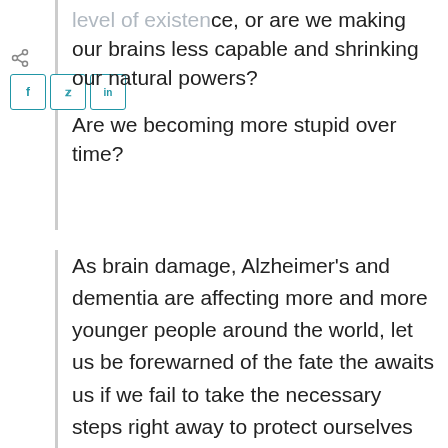level of existence, or are we making our brains less capable and shrinking our natural powers?
Are we becoming more stupid over time?
As brain damage, Alzheimer's and dementia are affecting more and more younger people around the world, let us be forewarned of the fate the awaits us if we fail to take the necessary steps right away to protect ourselves and our loved ones and our beloved environment. We have the future of our Planet in our heads...the question is: